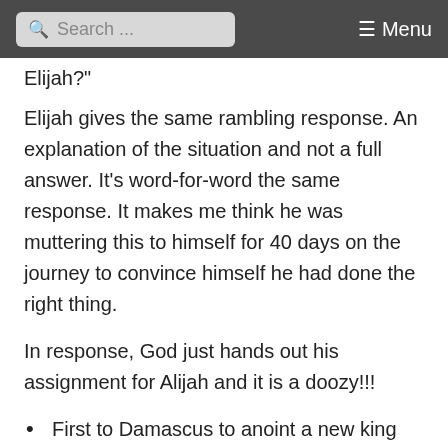Search ... ≡ Menu
Elijah?"
Elijah gives the same rambling response. An explanation of the situation and not a full answer. It's word-for-word the same response. It makes me think he was muttering this to himself for 40 days on the journey to convince himself he had done the right thing.
In response, God just hands out his assignment for Alijah and it is a doozy!!!
First to Damascus to anoint a new king Hazael over Aram (Syria).
Then anoint Jehu the new king over Israel.